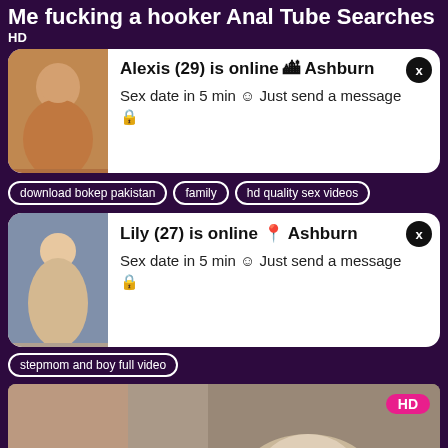Me fucking a hooker Anal Tube Searches
HD
[Figure (photo): Ad card 1 with female photo thumbnail, notification: Alexis (29) is online in Ashburn. Sex date in 5 min. Just send a message.]
download bokep pakistan
family
hd quality sex videos
[Figure (photo): Ad card 2 with female photo thumbnail, notification: Lily (27) is online in Ashburn. Sex date in 5 min. Just send a message.]
stepmom and boy full video
[Figure (photo): Video thumbnail showing explicit adult content with HD badge]